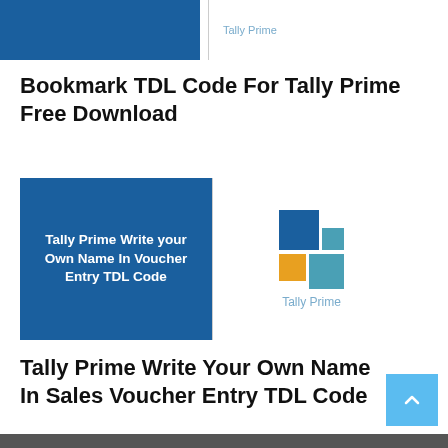[Figure (illustration): Partial card at top: blue rectangle left, Tally Prime logo text right with vertical divider]
Bookmark TDL Code For Tally Prime Free Download
[Figure (illustration): Card with blue background showing 'Tally Prime Write your Own Name In Voucher Entry TDL Code' text, and Tally Prime logo on the right]
Tally Prime Write Your Own Name In Sales Voucher Entry TDL Code